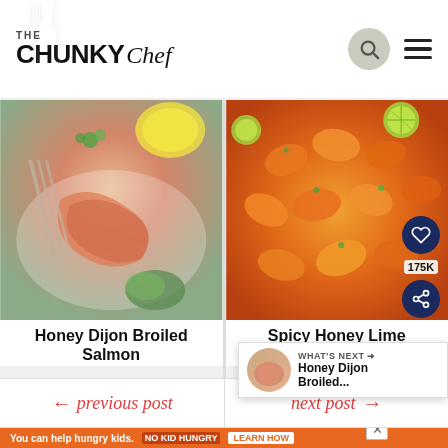THE CHUNKY Chef
[Figure (photo): Close-up photo of Honey Dijon Broiled Salmon on a white plate with lemon, avocado, and herbs, fork pulling apart flaky salmon]
Honey Dijon Broiled Salmon
[Figure (photo): Close-up overhead photo of Spicy Honey Lime Shrimp, orange-golden shrimp with lime slices and herbs]
Spicy Honey Lime Shrimp
← previous post
next post →
WHAT'S NEXT → Honey Dijon Broiled...
You can help hungry kids. NO KID HUNGRY LEARN HOW